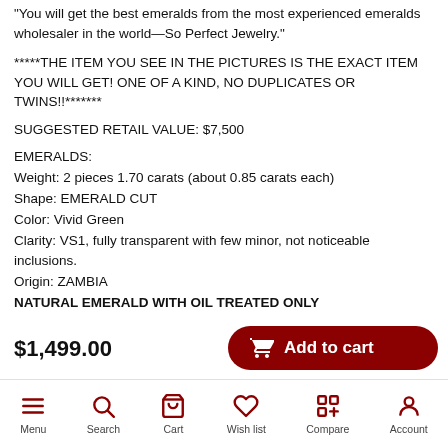"You will get the best emeralds from the most experienced emeralds wholesaler in the world—So Perfect Jewelry."
*****THE ITEM YOU SEE IN THE PICTURES IS THE EXACT ITEM YOU WILL GET! ONE OF A KIND, NO DUPLICATES OR TWINS!!*******
SUGGESTED RETAIL VALUE: $7,500
EMERALDS:
Weight: 2 pieces 1.70 carats (about 0.85 carats each)
Shape: EMERALD CUT
Color: Vivid Green
Clarity: VS1, fully transparent with few minor, not noticeable inclusions.
Origin: ZAMBIA
NATURAL EMERALD WITH OIL TREATED ONLY
PERFECT VIVID GREEN COLOR!!!
$1,499.00
Add to cart
Menu  Search  Cart  Wish list  Compare  Account